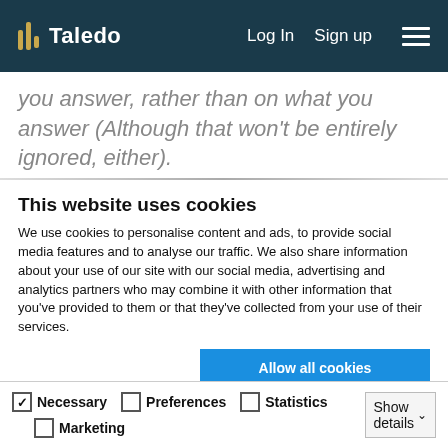Taledo | Log In  Sign up
you answer, rather than on what you answer (Although that won't be entirely ignored, either).
This website uses cookies
We use cookies to personalise content and ads, to provide social media features and to analyse our traffic. We also share information about your use of our site with our social media, advertising and analytics partners who may combine it with other information that you've provided to them or that they've collected from your use of their services.
Allow all cookies | Allow selection | Use necessary cookies only
Necessary  Preferences  Statistics  Marketing  Show details